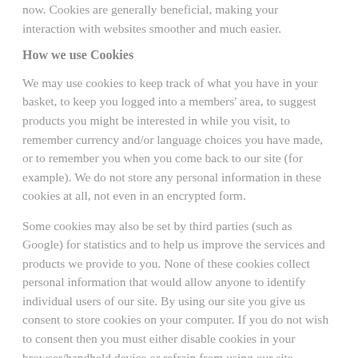now. Cookies are generally beneficial, making your interaction with websites smoother and much easier.
How we use Cookies
We may use cookies to keep track of what you have in your basket, to keep you logged into a members' area, to suggest products you might be interested in while you visit, to remember currency and/or language choices you have made, or to remember you when you come back to our site (for example). We do not store any personal information in these cookies at all, not even in an encrypted form.
Some cookies may also be set by third parties (such as Google) for statistics and to help us improve the services and products we provide to you. None of these cookies collect personal information that would allow anyone to identify individual users of our site. By using our site you give us consent to store cookies on your computer. If you do not wish to consent then you must either disable cookies in your browser/handheld device or refrain from using our site.
What cookies are used